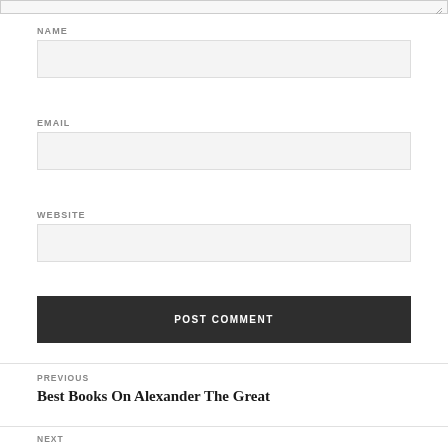NAME
EMAIL
WEBSITE
POST COMMENT
PREVIOUS
Best Books On Alexander The Great
NEXT